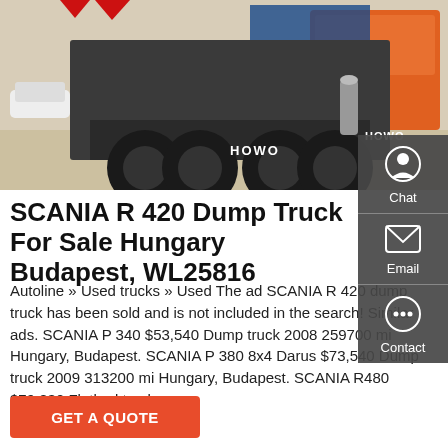[Figure (photo): Rear view of HOWO dump trucks parked at a lot, orange trucks visible, concrete surface]
SCANIA R 420 Dump Truck For Sale Hungary Budapest, WL25816
Autoline » Used trucks » Used The ad SCANIA R 420 dump truck has been sold and is not included in the search! Similar ads. SCANIA P 340 $53,540 Dump truck 2008 259700 mi Hungary, Budapest. SCANIA P 380 8x4 Darus $73,540 Dump truck 2009 313200 mi Hungary, Budapest. SCANIA R480 $79,830 Flatbed truck …
GET A QUOTE